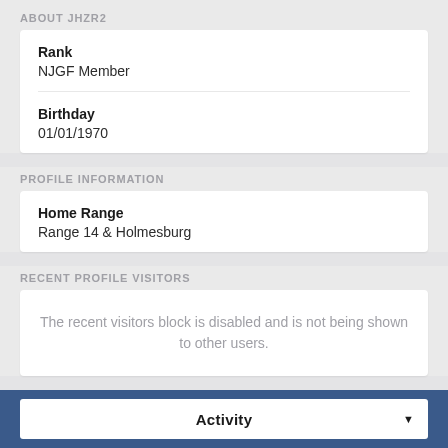ABOUT JHZR2
Rank
NJGF Member
Birthday
01/01/1970
PROFILE INFORMATION
Home Range
Range 14 & Holmesburg
RECENT PROFILE VISITORS
The recent visitors block is disabled and is not being shown to other users.
Activity